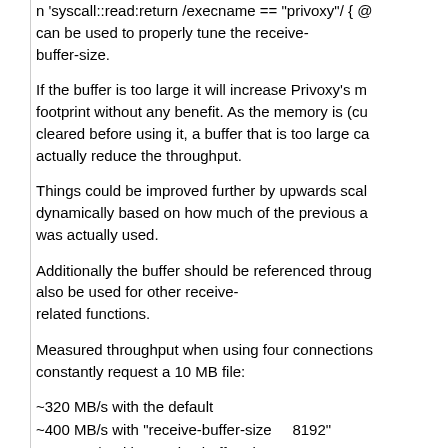n 'syscall::read:return /execname == "privoxy"/ { @ can be used to properly tune the receive-buffer-size.
If the buffer is too large it will increase Privoxy's m footprint without any benefit. As the memory is (cu cleared before using it, a buffer that is too large ca actually reduce the throughput.
Things could be improved further by upwards scal dynamically based on how much of the previous a was actually used.
Additionally the buffer should be referenced throug also be used for other receive-related functions.
Measured throughput when using four connections constantly request a 10 MB file:
~320 MB/s with the default
~400 MB/s with "receive-buffer-size    8192"
~490 MB/s with "receive-buffer-size   16384"
~610 MB/s with "receive-buffer-size   32768"
~700 MB/s with "receive-buffer-size   65536"
~755 MB/s with "receive-buffer-size  131072"
~795 MB/s with "receive-buffer-size  262144"
~804 MB/s with "receive-buffer-size  524288"
~798 MB/s with "receive-buffer-size 1048576"
~780 MB/s with "receive-buffer-size 2097152"